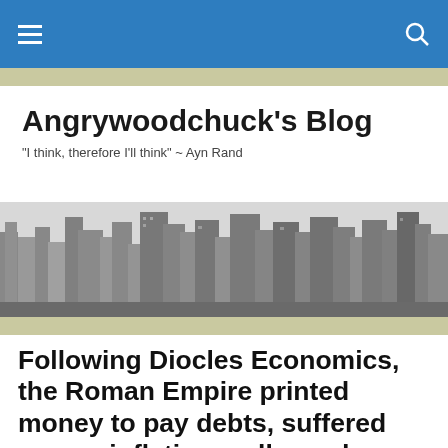Angrywoodchuck's Blog navigation bar
Angrywoodchuck's Blog
"I think, therefore I'll think" ~ Ayn Rand
[Figure (photo): Black and white aerial photograph of a city skyline with skyscrapers]
Following Diocles Economics, the Roman Empire printed money to pay debts, suffered severe inflation, collapsed. Obama and The Fed Following